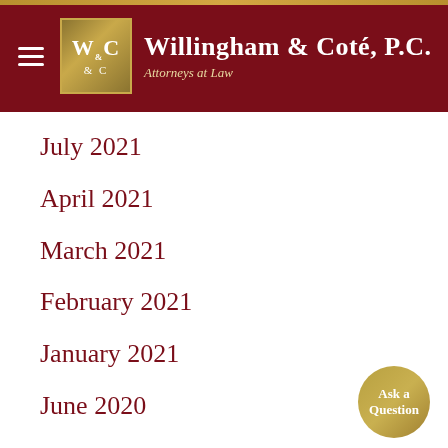Willingham & Coté, P.C. — Attorneys at Law
July 2021
April 2021
March 2021
February 2021
January 2021
June 2020
May 2020
March 2020